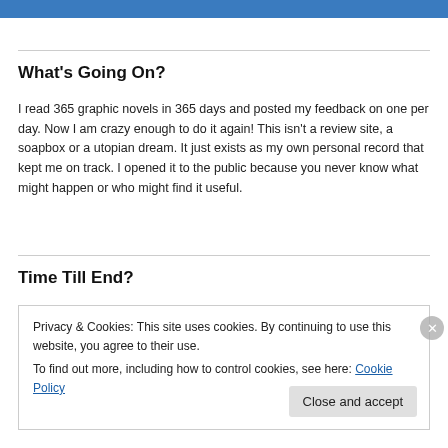What's Going On?
I read 365 graphic novels in 365 days and posted my feedback on one per day. Now I am crazy enough to do it again! This isn't a review site, a soapbox or a utopian dream. It just exists as my own personal record that kept me on track. I opened it to the public because you never know what might happen or who might find it useful.
Time Till End?
Privacy & Cookies: This site uses cookies. By continuing to use this website, you agree to their use.
To find out more, including how to control cookies, see here: Cookie Policy
Close and accept